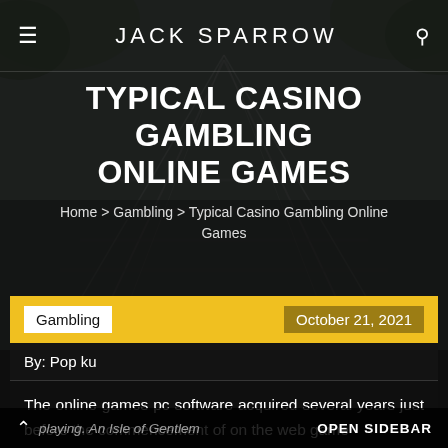JACK SPARROW
TYPICAL CASINO GAMBLING ONLINE GAMES
Home > Gambling > Typical Casino Gambling Online Games
Gambling   October 21, 2021
By: Pop ku
The online games pc software acquired several years just before the commencement of on the web game playing. An Isle of Gentlemen computer solutions...
OPEN SIDEBAR